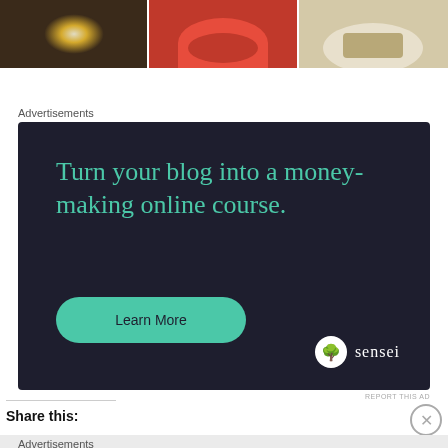[Figure (photo): Strip of three food/restaurant photos: dim candlelit scene, red tomato soup in a bowl, and rice or grain dish on a plate]
Advertisements
[Figure (infographic): Dark navy advertisement banner for Sensei: text reads 'Turn your blog into a money-making online course.' with a teal 'Learn More' button and Sensei logo at bottom right]
REPORT THIS AD
Share this:
Advertisements